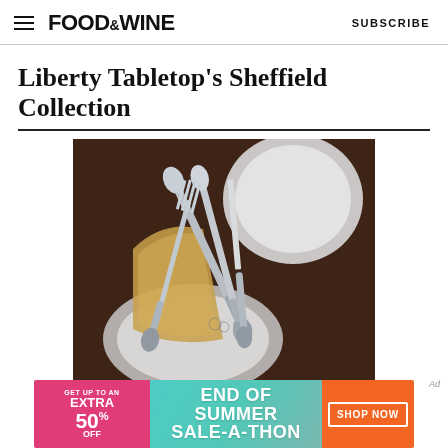FOOD&WINE  SUBSCRIBE
Liberty Tabletop's Sheffield Collection
[Figure (photo): Sheffield Collection cutlery/flatware set including forks, spoons, and a knife with ornate handles, arranged on plates with a gold napkin on a dark table surface.]
[Figure (other): Advertisement banner: GET UP TO AN EXTRA 50% OFF | END OF SUMMER SALE-A-THON | SHOP NOW]